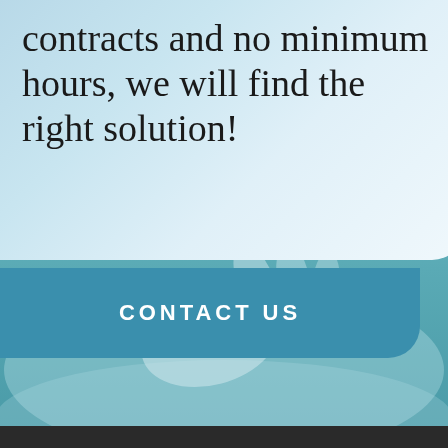contracts and no minimum hours, we will find the right solution!
CONTACT US
[Figure (photo): Background photo of hands (patient/caregiver) on a bed with a teal/blue color overlay]